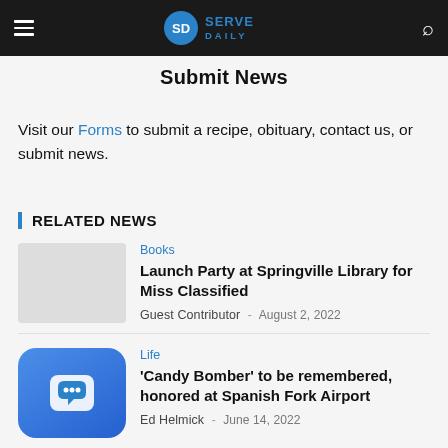SD SERVE DAILY
Submit News
Visit our Forms to submit a recipe, obituary, contact us, or submit news.
RELATED NEWS
Books
Launch Party at Springville Library for Miss Classified
Guest Contributor · August 2, 2022
[Figure (other): App icon with speech bubble]
Life
'Candy Bomber' to be remembered, honored at Spanish Fork Airport
Ed Helmick · June 14, 2022